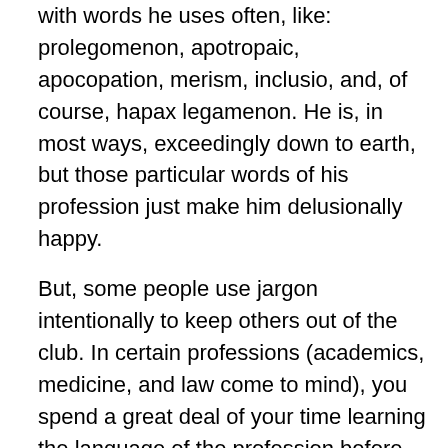with words he uses often, like: prolegomenon, apotropaic, apocopation, merism, inclusio, and, of course, hapax legamenon. He is, in most ways, exceedingly down to earth, but those particular words of his profession just make him delusionally happy.
But, some people use jargon intentionally to keep others out of the club. In certain professions (academics, medicine, and law come to mind), you spend a great deal of your time learning the language of the profession before you can ever be trusted to think your own thoughts. This bothers me. I mean, sure, it's good to be precise, and when you go into more depth on a particular subject it helps to have vocabulary with you to light up the dark, but does it have to be so alienating to outsiders? To what end?
Cricket understands every word I say, or do not say. She